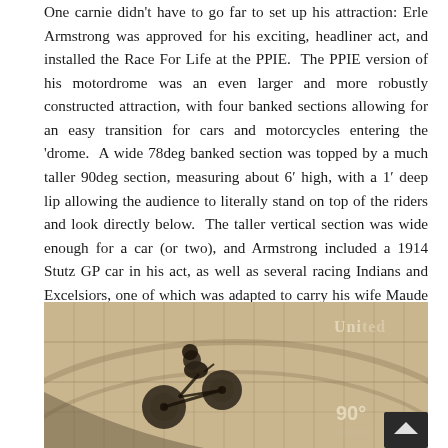One carnie didn't have to go far to set up his attraction: Erle Armstrong was approved for his exciting, headliner act, and installed the Race For Life at the PPIE. The PPIE version of his motordrome was an even larger and more robustly constructed attraction, with four banked sections allowing for an easy transition for cars and motorcycles entering the 'drome. A wide 78deg banked section was topped by a much taller 90deg section, measuring about 6' high, with a 1' deep lip allowing the audience to literally stand on top of the riders and look directly below. The taller vertical section was wide enough for a car (or two), and Armstrong included a 1914 Stutz GP car in his act, as well as several racing Indians and Excelsiors, one of which was adapted to carry his wife Maude on the handlebars.
[Figure (photo): Vintage black and white photograph showing a motorcycle rider on a steeply banked motordrome wall. The image shows the curved wooden wall of the drome with the rider at an angle. Text overlay shows '90°' in the lower right area, and 'United' text is partially visible in the upper right. A dark arrow/chevron button is visible in the bottom right corner.]